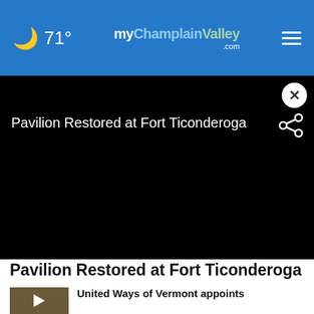71° | myChamplainValley.com
[Figure (screenshot): Black video player area with title 'Pavilion Restored at Fort Ticonderoga', a close button (X) in top-right, and a share icon to the right of the title]
Pavilion Restored at Fort Ticonderoga
United Ways of Vermont appoints